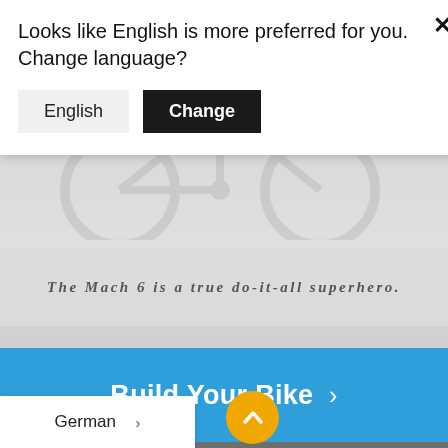[Figure (screenshot): Screenshot of a website showing a language change dialog, bike product page with tire images, 'Build Your Bike' CTA button, 'BUILT TO PARTY' section, and a German language dropdown.]
Looks like English is more preferred for you. Change language?
English
Change
The Mach 6 is a true do-it-all superhero.
Build Your Bike >
BUILT TO PARTY
Our Race builds pair supremely durable Marzocchi ocks with omber Z1 air forks. Pro and Team builds feature Fox DHX2 coil shocks and
German >